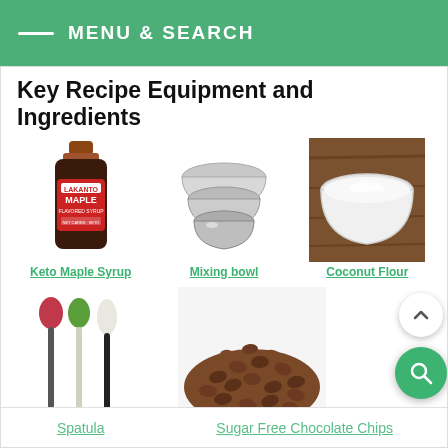MENU & SEARCH
Key Recipe Equipment and Ingredients
[Figure (photo): Bottle of Keto Maple Syrup]
Keto Maple Syrup
[Figure (photo): Stainless steel mixing bowls stacked]
Mixing bowl
[Figure (photo): White bowl filled with coconut flour on wooden surface]
Coconut Flour
[Figure (photo): Red, green, and white spatulas]
Spatula
[Figure (photo): Pile of sugar free chocolate chips]
Sugar Free Chocolate Chips